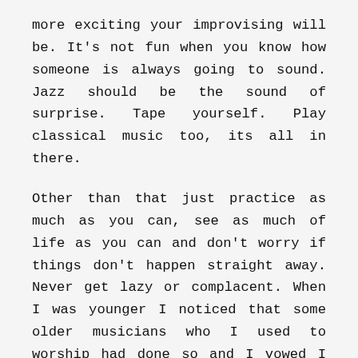more exciting your improvising will be. It's not fun when you know how someone is always going to sound. Jazz should be the sound of surprise. Tape yourself. Play classical music too, its all in there.
Other than that just practice as much as you can, see as much of life as you can and don't worry if things don't happen straight away. Never get lazy or complacent. When I was younger I noticed that some older musicians who I used to worship had done so and I vowed I would never slack off. The only person who can help you get better is yourself.